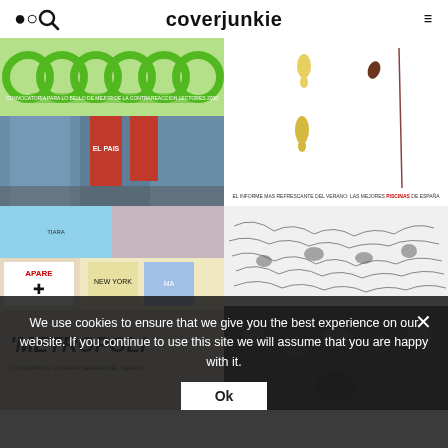coverjunkie
[Figure (photo): Green interlocking rings/loops on white background with Spanish text]
[Figure (photo): White background with yellow drops and a dark bean/seed, Spanish text at bottom]
[Figure (photo): Museum/gallery interior with large red banners and posters]
[Figure (photo): Black and white illustrated chaotic crowd scene]
[Figure (photo): Street scene with posters including APARE text and various magazine covers]
[Figure (photo): Metropoli magazine cover with text]
We use cookies to ensure that we give you the best experience on our website. If you continue to use this site we will assume that you are happy with it.
Ok